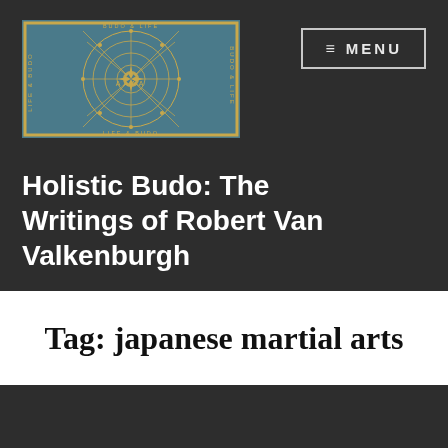[Figure (logo): Holistic Budo logo: teal/blue background with golden geometric mandala/sacred geometry design, circular overlapping patterns with star/sun in center, text 'BUDO & LIFE' and 'LIFE & BUDO' along the borders]
Holistic Budo: The Writings of Robert Van Valkenburgh
MENU
Tag: japanese martial arts